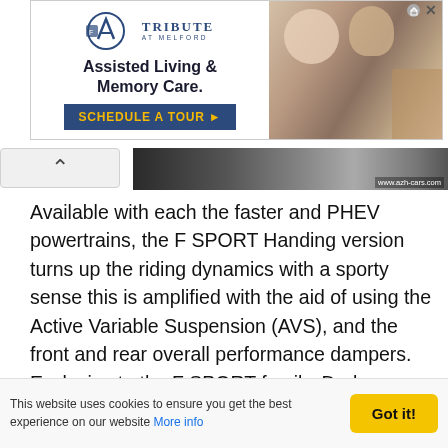[Figure (other): Advertisement banner for Tribute at Melford assisted living and memory care facility, featuring logo, tagline 'Assisted Living & Memory Care.' with 'SCHEDULE A TOUR ▶' call-to-action button, and a photo of elderly people.]
[Figure (photo): Partial image strip of a car, with watermark www.azh-cars.com]
Available with each the faster and PHEV powertrains, the F SPORT Handing version turns up the riding dynamics with a sporty sense this is amplified with the aid of using the Active Variable Suspension (AVS), and the front and rear overall performance dampers. Exclusive to the F SPORT family, Dark Graphite Aluminum ornamentation, a completely unique meter, game seats, a newly evolved guidance wheel, and aluminum pedals and scuff plates ready it apart. With perforated indoors trim in Black and Circuit Red NuLuxe, the game-stimulated substances are incorporated at the seats, guidance wheel and middle
This website uses cookies to ensure you get the best experience on our website More info
Got it!